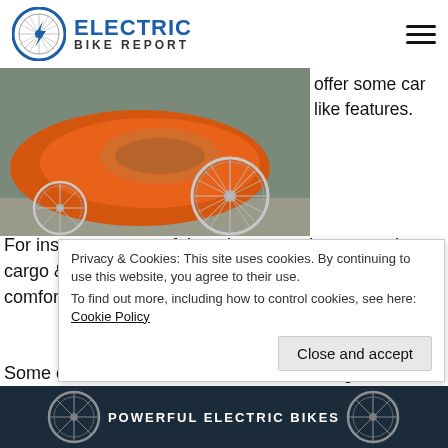ELECTRIC BIKE REPORT
[Figure (photo): Orange recumbent electric trike photographed from the side, showing large chrome spoke wheel and enclosed orange body shell, parked on pavement.]
offer some car like features.
For instance, some of them have weather protection, cargo & passenger capacity, full suspension, comfortable seats, lights & mirrors, etc.
Some of these e-recumbent trikes are designed for everyday co...al po...
Privacy & Cookies: This site uses cookies. By continuing to use this website, you agree to their use. To find out more, including how to control cookies, see here: Cookie Policy
[Figure (infographic): Bottom dark banner with text POWERFUL ELECTRIC BIKES and partial bicycle wheel imagery on sides.]